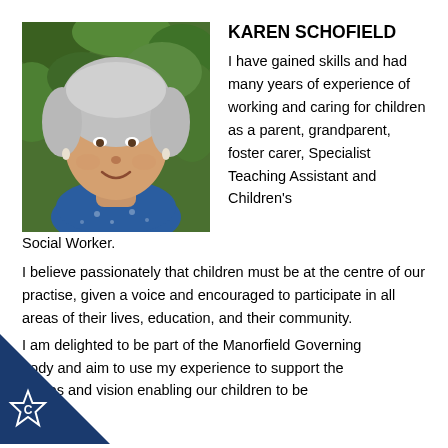[Figure (photo): Headshot photo of Karen Schofield, a woman with short grey hair, smiling, wearing a blue patterned top, with green foliage in the background.]
KAREN SCHOFIELD
I have gained skills and had many years of experience of working and caring for children as a parent, grandparent, foster carer, Specialist Teaching Assistant and Children's Social Worker.
I believe passionately that children must be at the centre of our practise, given a voice and encouraged to participate in all areas of their lives, education, and their community.
I am delighted to be part of the Manorfield Governing body and aim to use my experience to support the values and vision enabling our children to be